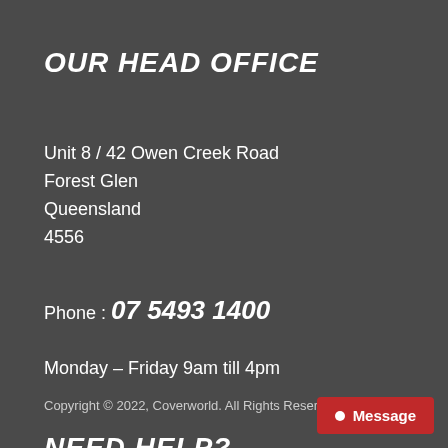OUR HEAD OFFICE
Unit 8 / 42 Owen Creek Road
Forest Glen
Queensland
4556
Phone : 07 5493 1400
Monday – Friday 9am till 4pm
Copyright © 2022, Coverworld. All Rights Reserved
NEED HELP?